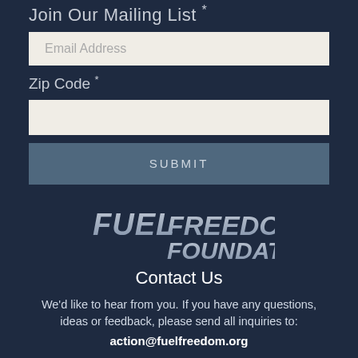Join Our Mailing List *
[Figure (other): Email Address input field (light beige background with placeholder text 'Email Address')]
Zip Code *
[Figure (other): Zip Code input field (light beige background, empty)]
[Figure (other): SUBMIT button (dark steel blue background with 'SUBMIT' text in spaced caps)]
[Figure (logo): Fuel Freedom Foundation logo in italic bold white/gray text on dark navy background]
Contact Us
We'd like to hear from you. If you have any questions, ideas or feedback, please send all inquiries to:
action@fuelfreedom.org